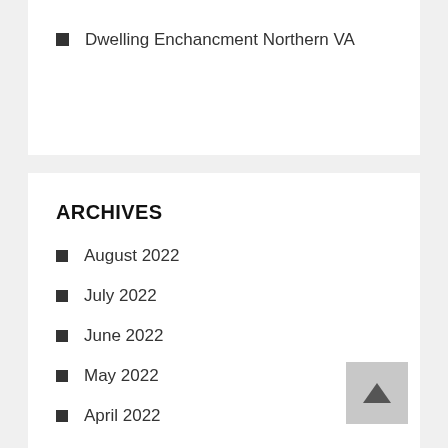Dwelling Enchancment Northern VA
ARCHIVES
August 2022
July 2022
June 2022
May 2022
April 2022
March 2022